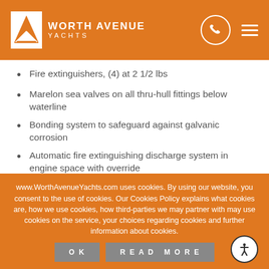Worth Avenue Yachts
Fire extinguishers, (4) at 2 1/2 lbs
Marelon sea valves on all thru-hull fittings below waterline
Bonding system to safeguard against galvanic corrosion
Automatic fire extinguishing discharge system in engine space with override
(3) Automatic 12V electric bilge pumps
(3) high water switches and alarm
www.WorthAvenueYachts.com uses cookies. By using our website, you consent to the use of cookies. Our Cookies Policy explains what cookies are, how we use cookies, how third-parties we may partner with may use cookies on the service, your choices regarding cookies and further information about cookies.